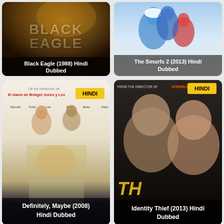[Figure (photo): Black Eagle (1988) Hindi Dubbed movie poster with dark background and action figure]
[Figure (photo): The Smurfs 2 (2013) Hindi Dubbed animated movie poster]
[Figure (photo): Definitely, Maybe (2008) Hindi Dubbed romantic comedy movie poster]
[Figure (photo): Identity Thief (2013) Hindi Dubbed movie poster]
[Figure (photo): Lost Ollie Hindi dubbed show poster]
[Figure (photo): HBO Original dragon show poster with EPS 10 badge]